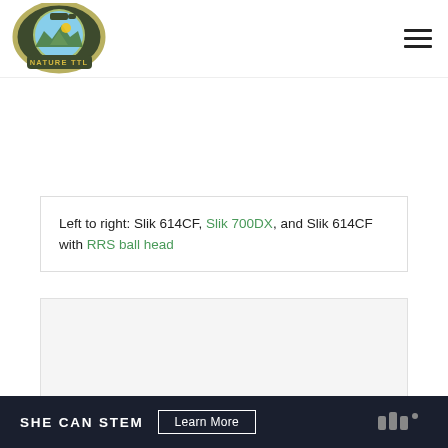[Figure (logo): Nature TTL logo — camera graphic with mountains inside lens, 'NATURE TTL' text below, olive/dark green border]
Left to right: Slik 614CF, Slik 700DX, and Slik 614CF with RRS ball head
[Figure (photo): Large photo area (mostly white/light grey background placeholder)]
SHE CAN STEM  Learn More